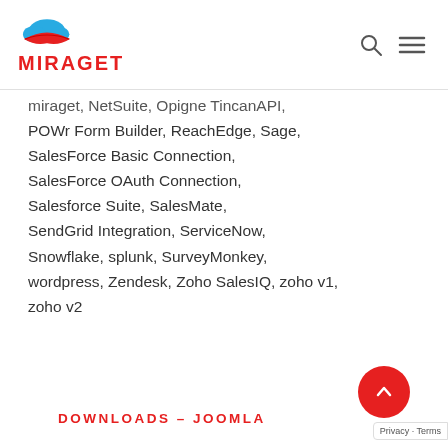MIRAGET
miraget, NetSuite, Opigno TincanAPI, POWr Form Builder, ReachEdge, Sage, SalesForce Basic Connection, SalesForce OAuth Connection, Salesforce Suite, SalesMate, SendGrid Integration, ServiceNow, Snowflake, splunk, SurveyMonkey, wordpress, Zendesk, Zoho SalesIQ, zoho v1, zoho v2
DOWNLOADS – JOOMLA